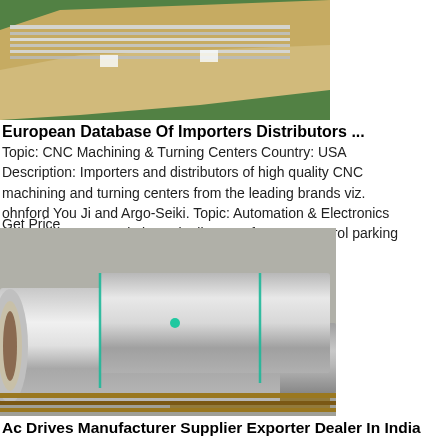[Figure (photo): Photo of stacked metal sheets wrapped in brown/gold packaging material with green background]
European Database Of Importers Distributors ...
Topic: CNC Machining & Turning Centers Country: USA Description: Importers and distributors of high quality CNC machining and turning centers from the leading brands viz. ohnford You Ji and Argo-Seiki. Topic: Automation & Electronics Country: USA Description: Distributors of access control parking & …
Get Price
[Figure (photo): Photo of large aluminum coil rolls stacked on pallets in a warehouse]
Ac Drives Manufacturer Supplier Exporter Dealer In India